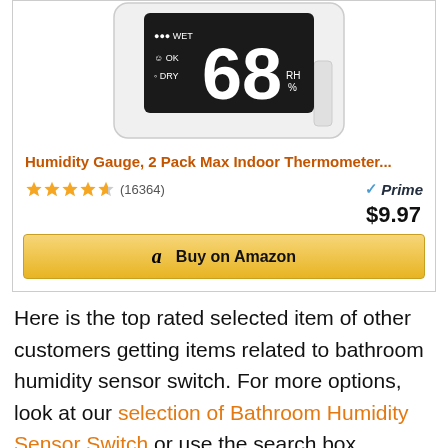[Figure (screenshot): Product image of a white humidity gauge / thermometer device showing '68 RH%' on its digital display, with WET/OK/DRY labels]
Humidity Gauge, 2 Pack Max Indoor Thermometer...
★★★★☆ (16364) | Prime | $9.97 | Buy on Amazon
Here is the top rated selected item of other customers getting items related to bathroom humidity sensor switch. For more options, look at our selection of Bathroom Humidity Sensor Switch or use the search box.